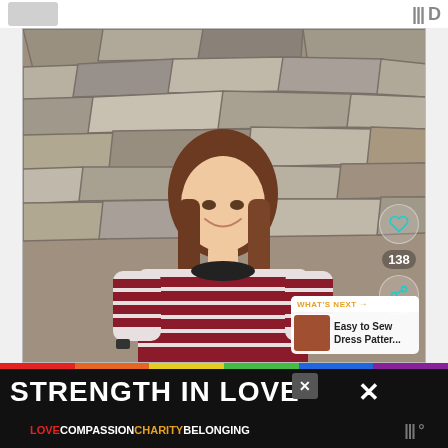[Figure (photo): Screenshot of a social media video post showing a smiling woman with long brown hair wearing a red and white striped t-shirt standing against a stone wall. Interface elements include a heart/like button showing 138 likes, a share button, and a 'What's Next' card showing 'Easy to Sew Dress Patter...']
WHAT'S NEXT → Easy to Sew Dress Patter...
138
STRENGTH IN LOVE
LOVE COMPASSION CHARITY BELONGING